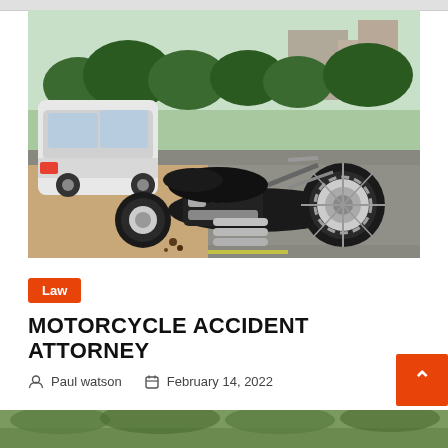[Figure (photo): A crashed motorcycle lying on its side on a road, with a white car in the background. The motorcycle has fallen near the roadside, with green trees and buildings visible in the background. The scene depicts a traffic accident.]
Law
MOTORCYCLE ACCIDENT ATTORNEY
Paul watson   February 14, 2022
[Figure (photo): Partial view of another motorcycle or outdoor scene at the bottom edge of the page.]